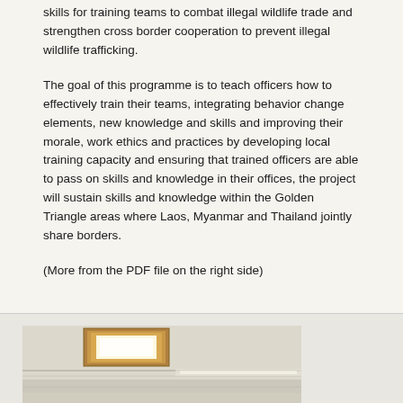skills for training teams to combat illegal wildlife trade and strengthen cross border cooperation to prevent illegal wildlife trafficking.
The goal of this programme is to teach officers how to effectively train their teams, integrating behavior change elements, new knowledge and skills and improving their morale, work ethics and practices by developing local training capacity and ensuring that trained officers are able to pass on skills and knowledge in their offices, the project will sustain skills and knowledge within the Golden Triangle areas where Laos, Myanmar and Thailand jointly share borders.
(More from the PDF file on the right side)
[Figure (photo): Interior photo showing ceiling with a wooden light fixture/skylight and fluorescent lighting strips, with white ceiling panels and walls visible below.]